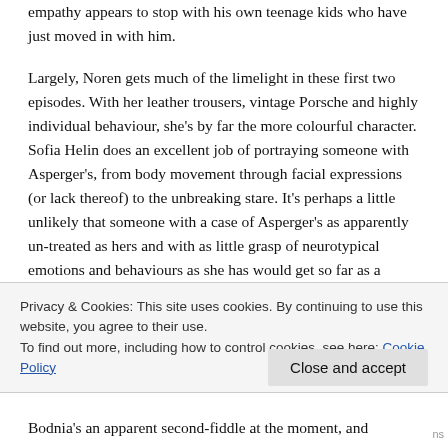empathy appears to stop with his own teenage kids who have just moved in with him.
Largely, Noren gets much of the limelight in these first two episodes. With her leather trousers, vintage Porsche and highly individual behaviour, she’s by far the more colourful character. Sofia Helin does an excellent job of portraying someone with Asperger’s, from body movement through facial expressions (or lack thereof) to the unbreaking stare. It’s perhaps a little unlikely that someone with a case of Asperger’s as apparently un-treated as hers and with as little grasp of neurotypical emotions and behaviours as she has would get so far as a police detective – or that no one would have told her by now
Privacy & Cookies: This site uses cookies. By continuing to use this website, you agree to their use.
To find out more, including how to control cookies, see here: Cookie Policy
Close and accept
Bodnia’s an apparent second-fiddle at the moment, and